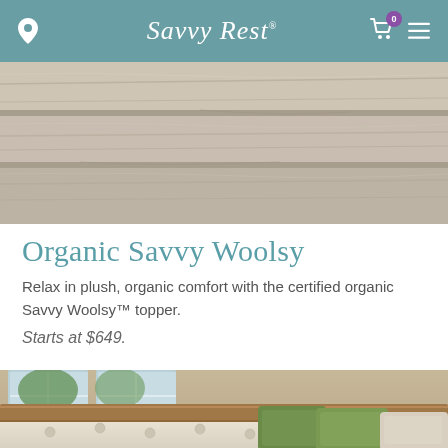Savvy Rest
[Figure (photo): Close-up of folded cream/beige fabric bedding, soft and plush texture]
Organic Savvy Woolsy
Relax in plush, organic comfort with the certified organic Savvy Woolsy™ topper.
Starts at $649.
[Figure (photo): Bedroom scene with a tufted white mattress topper on a wooden bed frame, decorated with green velvet pillows and a light pillow, window with natural light in background]